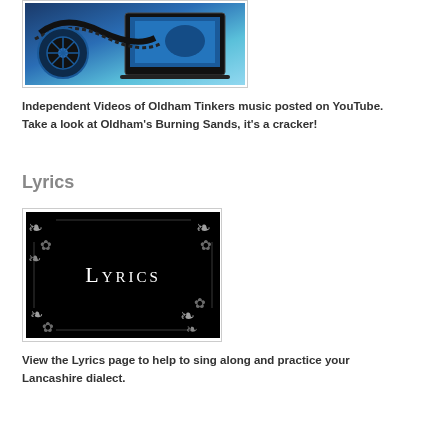[Figure (photo): Film reel and laptop on blue background, representing videos]
Independent Videos of Oldham Tinkers music posted on YouTube. Take a look at Oldham's Burning Sands, it's a cracker!
Lyrics
[Figure (photo): Black background image with ornate white border decorations and the word 'Lyrics' in white serif font]
View the Lyrics page to help to sing along and practice your Lancashire dialect.